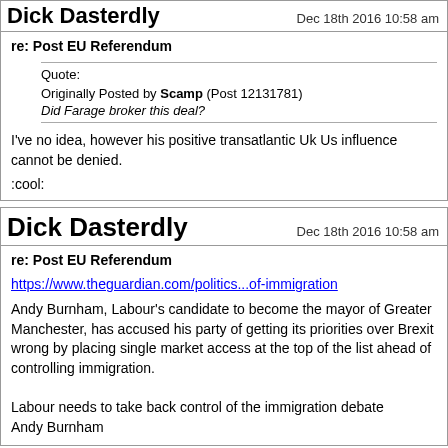Dick Dasterdly    Dec 18th 2016 10:58 am
re: Post EU Referendum
Originally Posted by Scamp (Post 12131781)
Did Farage broker this deal?
I've no idea, however his positive transatlantic Uk Us influence cannot be denied.

:cool:
Dick Dasterdly    Dec 18th 2016 10:58 am
re: Post EU Referendum
https://www.theguardian.com/politics...of-immigration
Andy Burnham, Labour's candidate to become the mayor of Greater Manchester, has accused his party of getting its priorities over Brexit wrong by placing single market access at the top of the list ahead of controlling immigration.

Labour needs to take back control of the immigration debate
Andy Burnham